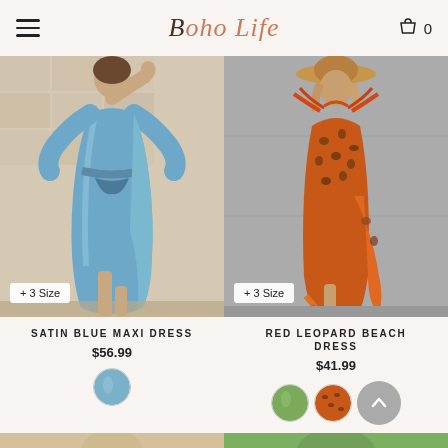Boho Life
[Figure (photo): Blue satin maxi dress worn by a model, with long sleeves, V-neckline, button details, and a tie waist belt. The model has her hand raised near her hair. Background is stone tile.]
[Figure (photo): Red leopard print beach dress with cutout halter neckline, orange fringe or feather trim. Model wearing a hat stands against grey concrete background.]
SATIN BLUE MAXI DRESS
$56.99
RED LEOPARD BEACH DRESS
$41.99
[Figure (photo): Partial view of two more product photos at the bottom of the page.]